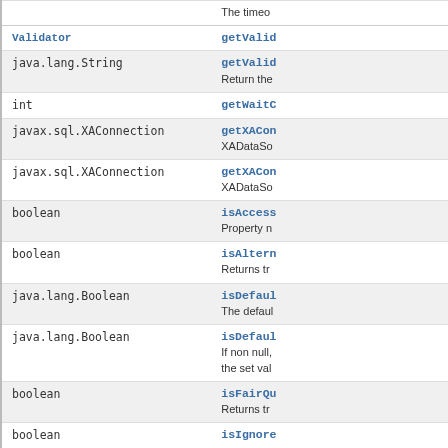| Type | Method |
| --- | --- |
|  | The timeo… |
| Validator | getValid… |
| java.lang.String | getValid…
Return the… |
| int | getWaitC… |
| javax.sql.XAConnection | getXACon…
XADataSo… |
| javax.sql.XAConnection | getXACon…
XADataSo… |
| boolean | isAccess…
Property n… |
| boolean | isAltern…
Returns tr… |
| java.lang.Boolean | isDefaul…
The defaul… |
| java.lang.Boolean | isDefaul…
If non null,
the set val… |
| boolean | isFairQu…
Returns tr… |
| boolean | isIgnore… |
| boolean | isJmxEna…
If set to tru…
to receive i… |